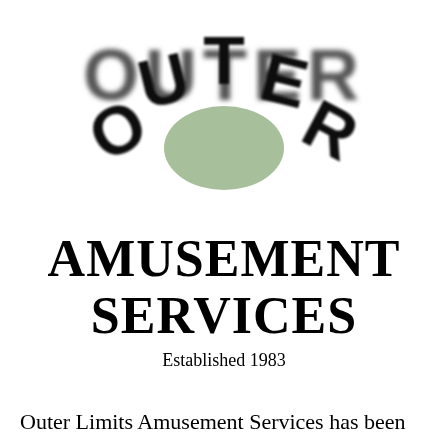[Figure (logo): Outer Limits logo showing stylized bold text 'OUTER' arranged in an arc above a green circular/dome shape, rendered with a blurred/3D effect on white background]
AMUSEMENT SERVICES
Established 1983
Outer Limits Amusement Services has been